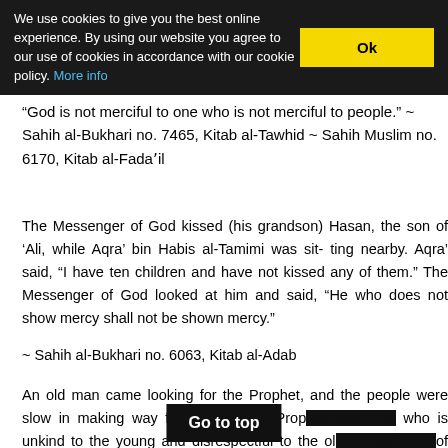We use cookies to give you the best online experience. By using our website you agree to our use of cookies in accordance with our cookie policy. More info
“God is not merciful to one who is not merciful to people.” ~ Sahih al-Bukhari no. 7465, Kitab al-Tawhid ~ Sahih Muslim no. 6170, Kitab al-Fadaʼil
The Messenger of God kissed (his grandson) Hasan, the son of ‘Ali, while Aqra’ bin Habis al-Tamimi was sit- ting nearby. Aqra’ said, “I have ten children and have not kissed any of them.” The Messenger of God looked at him and said, “He who does not show mercy shall not be shown mercy.”
~ Sahih al-Bukhari no. 6063, Kitab al-Adab
An old man came looking for the Prophet, and the people were slow in making way for him, so the Prop[het said], “He is not of us who is unkind to the young and disrespectful to the old of us.” ~ Sunan al-